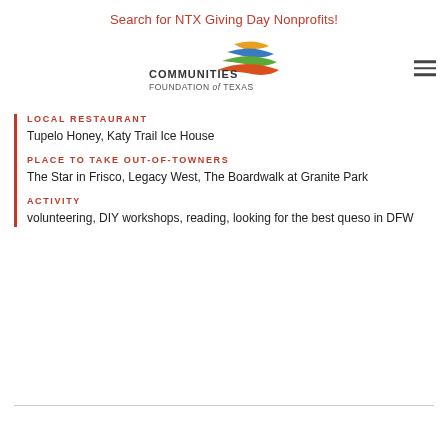Search for NTX Giving Day Nonprofits!
[Figure (logo): Communities Foundation of Texas logo with colorful swoosh mark and text]
LOCAL RESTAURANT
Tupelo Honey, Katy Trail Ice House
PLACE TO TAKE OUT-OF-TOWNERS
The Star in Frisco, Legacy West, The Boardwalk at Granite Park
ACTIVITY
volunteering, DIY workshops, reading, looking for the best queso in DFW